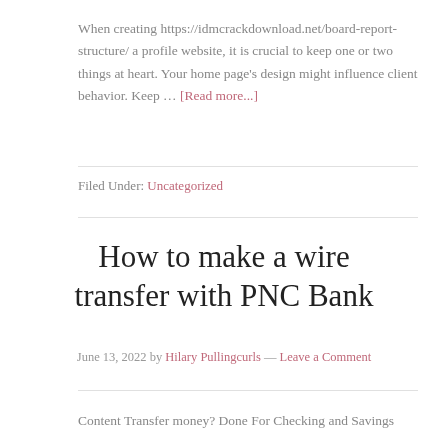When creating https://idmcrackdownload.net/board-report-structure/ a profile website, it is crucial to keep one or two things at heart. Your home page's design might influence client behavior. Keep … [Read more...]
Filed Under: Uncategorized
How to make a wire transfer with PNC Bank
June 13, 2022 by Hilary Pullingcurls — Leave a Comment
Content Transfer money? Done For Checking and Savings